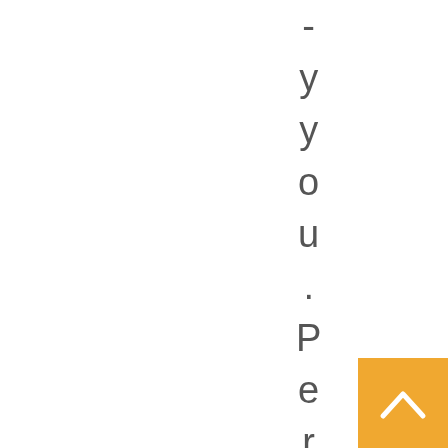- y y o u . P e r s o n a l
[Figure (other): Orange scroll-to-top button with upward chevron arrow in bottom right corner]